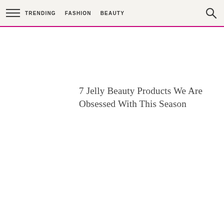TRENDING  FASHION  BEAUTY
7 Jelly Beauty Products We Are Obsessed With This Season